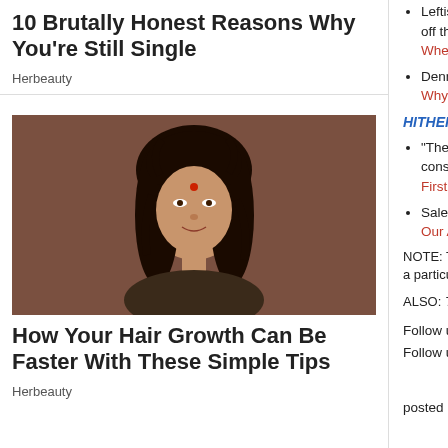10 Brutally Honest Reasons Why You're Still Single
Herbeauty
[Figure (photo): Photo of a young woman with curly black hair and a bindi]
How Your Hair Growth Can Be Faster With These Simple Tips
Herbeauty
Leftists love discrimination when it means kicking off their platforms -- but they'll gladly drag you off them."
When the Left Refuses Service, They're Preventing Service, They're Bigots
Dennis Prager: "The left suppresses free speech, there is dissent. And if there is dissent, t...
Why the Left Has To Suppress Free Speech
HITHER & YON
"The promise of this nation belongs to all of us... values. Use every opportunity to show consideration habits in their daily lives."
First Lady Melania Trump Says "The Past Four... Says Goodbye in "Farewell Message" Video
Salena Zito: "Too often in our culture, we disca...
Our American Treasures Hidden in Plain Sight
NOTE: The opinions expressed in some links may or m... because of their relevance to the discussion of a particu...
ALSO: The Morning Report is cross-posted at CutJibN... conversation all day.
Follow us on Twitter: @CutJibNews
Follow us on Instagram: @Cutjibnewsletter
digg this
posted by Open Blogger at 07:41 AM